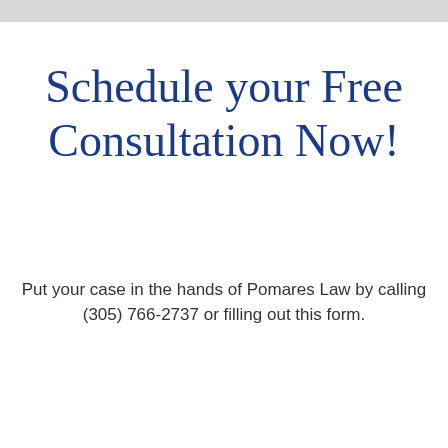Schedule your Free Consultation Now!
Put your case in the hands of Pomares Law by calling (305) 766-2737 or filling out this form.